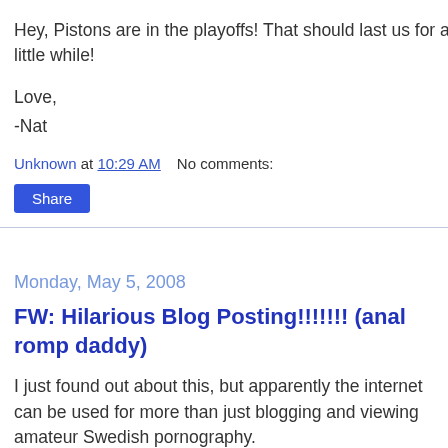Hey, Pistons are in the playoffs! That should last us for a little while!
Love,
-Nat
Unknown at 10:29 AM    No comments:
Share
Monday, May 5, 2008
FW: Hilarious Blog Posting!!!!!!! (anal romp daddy)
I just found out about this, but apparently the internet can be used for more than just blogging and viewing amateur Swedish pornography.
I know, shocking right?